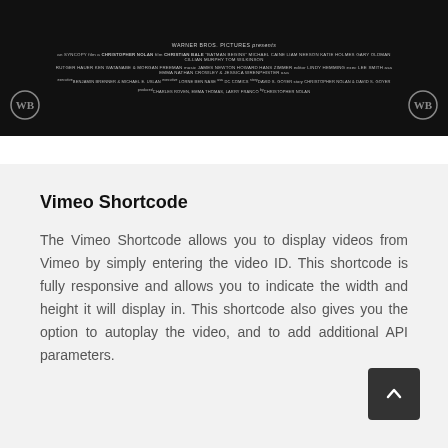[Figure (photo): Batman Begins movie credits banner on black background with Warner Bros. Pictures logo on left and right]
Vimeo Shortcode
The Vimeo Shortcode allows you to display videos from Vimeo by simply entering the video ID. This shortcode is fully responsive and allows you to indicate the width and height it will display in. This shortcode also gives you the option to autoplay the video, and to add additional API parameters.